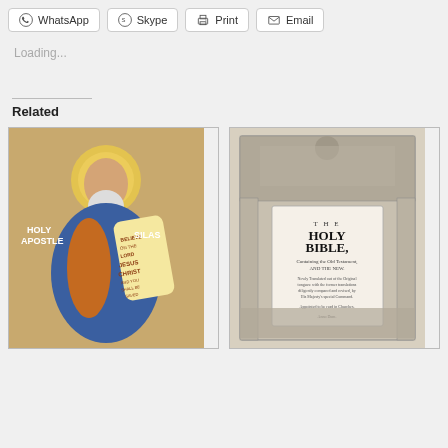WhatsApp  Skype  Print  Email
Loading...
Related
[Figure (illustration): Orthodox icon of Holy Apostle Silas holding a scroll with text 'Believe on the Lord Jesus Christ and you shall be saved']
[Figure (illustration): Title page of The Holy Bible, Containing the Old Testament and the New, King James Version, engraved frontispiece with biblical figures]